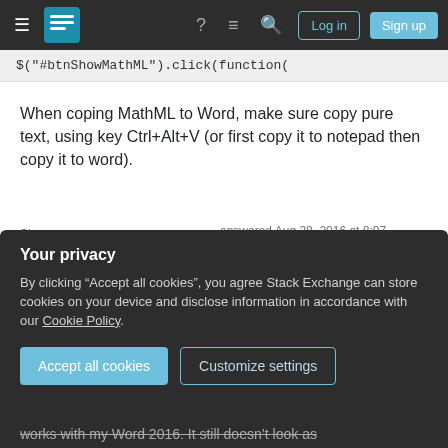[Figure (screenshot): Stack Exchange navigation bar with hamburger menu, logo, help icon, chat icon, search icon, Log in and Sign up buttons]
$("#btnShowMathML").click(function(
When coping MathML to Word, make sure copy pure text, using key Ctrl+Alt+V (or first copy it to notepad then copy it to word).
Share
Improve this answer
Follow
answered Aug 28, 2016 at 8:07
stalendp
91 ● 1 ● 3
Add a comment
The default server for LaTeX in Word appears to no
Your privacy
By clicking "Accept all cookies", you agree Stack Exchange can store cookies on your device and disclose information in accordance with our Cookie Policy.
Accept all cookies
Customize settings
works with my Word 2016. It still doesn't look as